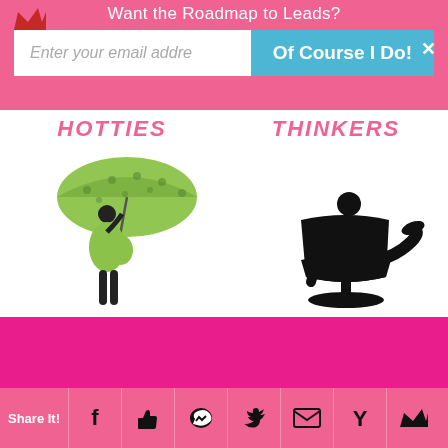Want the Roadmap to Leads?
Enter your email addre
Of Course I Do!
HOTTIES
THINKERS
[Figure (illustration): Silhouette of pregnant woman holding a green polka-dot umbrella, wearing a green dress]
[Figure (illustration): Silhouette of a person sitting in a chair thinking with hand on chin]
These folks need to make moves in 1-3 months – that's urgent! Don't delay. Follow-up daily (by phone, social media, email, mail, visit, etc.).
These potentials know they will 'pull the trigger' in the next 4-11 months. Weekly keep in touch, using the method THEY most prefer (e.g. social media, text, emails, etc)
Share It!